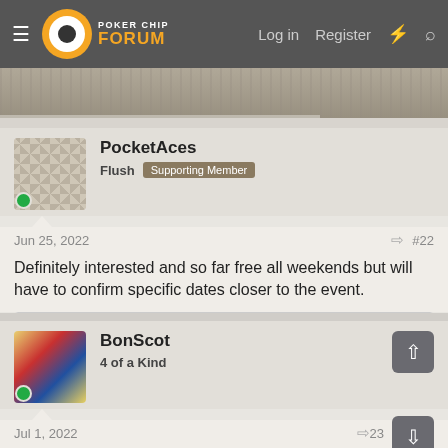Poker Chip Forum — Log in   Register
[Figure (photo): Banner/header image, partially visible, grayish textured background]
PocketAces
Flush  Supporting Member
Jun 25, 2022  #22
Definitely interested and so far free all weekends but will have to confirm specific dates closer to the event.
👍 BonScot
BonScot
4 of a Kind
Jul 1, 2022  #23
Bumping this to see if anyone else is interested. Only 5 voters